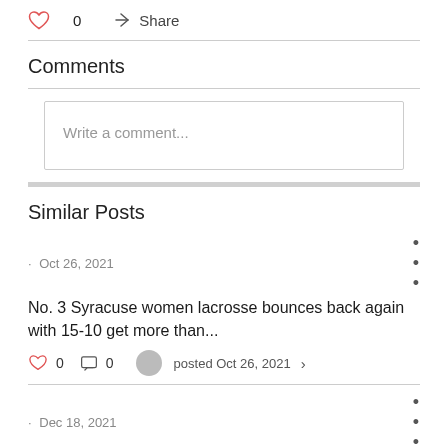[Figure (other): Heart icon (outline, red/pink) with like count 0 and Share button with arrow icon]
Comments
Write a comment...
Similar Posts
· Oct 26, 2021
No. 3 Syracuse women lacrosse bounces back again with 15-10 get more than...
0  0  posted Oct 26, 2021 >
· Dec 18, 2021